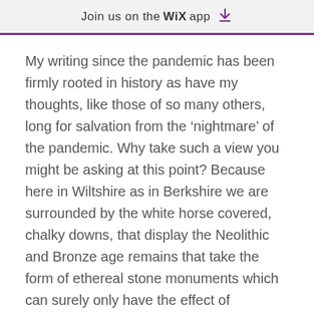Join us on the WiX app
My writing since the pandemic has been firmly rooted in history as have my thoughts, like those of so many others, long for salvation from the ‘nightmare’ of the pandemic. Why take such a view you might be asking at this point? Because here in Wiltshire as in Berkshire we are surrounded by the white horse covered, chalky downs, that display the Neolithic and Bronze age remains that take the form of ethereal stone monuments which can surely only have the effect of wonderment on us all at how we, as a civilisation, have overcome so many existential threats.